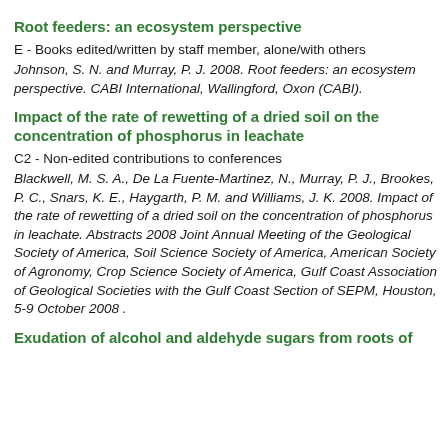Root feeders: an ecosystem perspective
E - Books edited/written by staff member, alone/with others
Johnson, S. N. and Murray, P. J. 2008. Root feeders: an ecosystem perspective. CABI International, Wallingford, Oxon (CABI).
Impact of the rate of rewetting of a dried soil on the concentration of phosphorus in leachate
C2 - Non-edited contributions to conferences
Blackwell, M. S. A., De La Fuente-Martinez, N., Murray, P. J., Brookes, P. C., Snars, K. E., Haygarth, P. M. and Williams, J. K. 2008. Impact of the rate of rewetting of a dried soil on the concentration of phosphorus in leachate. Abstracts 2008 Joint Annual Meeting of the Geological Society of America, Soil Science Society of America, American Society of Agronomy, Crop Science Society of America, Gulf Coast Association of Geological Societies with the Gulf Coast Section of SEPM, Houston, 5-9 October 2008 .
Exudation of alcohol and aldehyde sugars from roots of